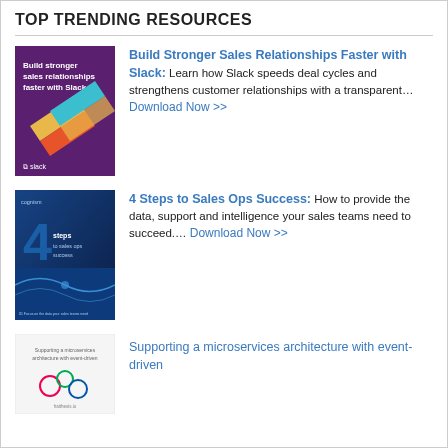TOP TRENDING RESOURCES
[Figure (illustration): Book cover: 'Build stronger sales relationships faster with Slack' - purple background with colorful diagonal shapes and Slack logo]
Build Stronger Sales Relationships Faster with Slack: Learn how Slack speeds deal cycles and strengthens customer relationships with a transparent… Download Now >>
[Figure (illustration): Book cover: '4 steps to sales ops success' - blue background with geometric design and Cognism branding]
4 Steps to Sales Ops Success: How to provide the data, support and intelligence your sales teams need to succeed.… Download Now >>
[Figure (illustration): Book cover: 'Supporting a microservices architecture with event-driven' - white background with abstract logo]
Supporting a microservices architecture with event-driven